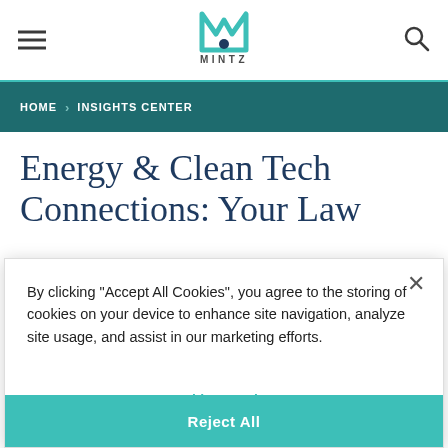[Figure (logo): Mintz law firm logo — teal M with drop, text MINTZ below]
HOME > INSIGHTS CENTER
Energy & Clean Tech Connections: Your Law
By clicking "Accept All Cookies", you agree to the storing of cookies on your device to enhance site navigation, analyze site usage, and assist in our marketing efforts.
Cookies Settings
Reject All